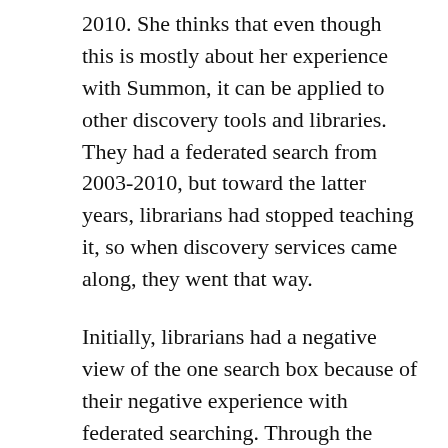2010. She thinks that even though this is mostly about her experience with Summon, it can be applied to other discovery tools and libraries. They had a federated search from 2003-2010, but toward the latter years, librarians had stopped teaching it, so when discovery services came along, they went that way.
Initially, librarians had a negative view of the one search box because of their negative experience with federated searching. Through the process of the implementation, they gathered feedback from the librarians, and the librarians were hopeful that this might live up to the promise that federated search did not. They also surveyed librarians outside of OSU